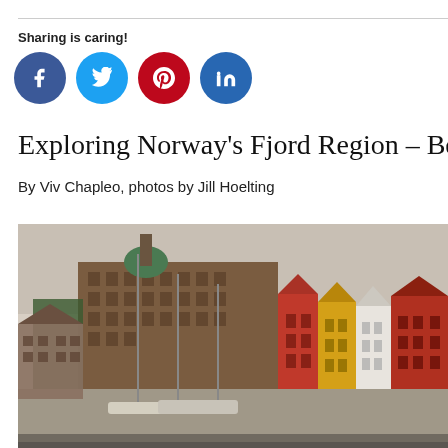Sharing is caring!
[Figure (infographic): Social media sharing buttons: Facebook (blue circle), Twitter (light blue circle), Pinterest (red circle), LinkedIn (dark blue circle)]
Exploring Norway's Fjord Region – Bergen to
By Viv Chapleo, photos by Jill Hoelting
[Figure (photo): Photograph of Bergen harbor waterfront showing colorful historic wooden buildings (Bryggen) in red, yellow and white, with a large brown brick building with a green dome, sailboat masts in the foreground, and overcast sky.]